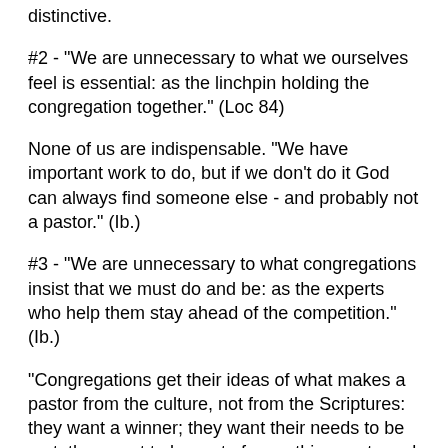distinctive.
#2 - "We are unnecessary to what we ourselves feel is essential: as the linchpin holding the congregation together." (Loc 84)
None of us are indispensable. "We have important work to do, but if we don't do it God can always find someone else - and probably not a pastor." (Ib.)
#3 - "We are unnecessary to what congregations insist that we must do and be: as the experts who help them stay ahead of the competition." (Ib.)
"Congregations get their ideas of what makes a pastor from the culture, not from the Scriptures: they want a winner; they want their needs to be met; they want to be part of something zesty and glamorous....
With b ll th th li t t